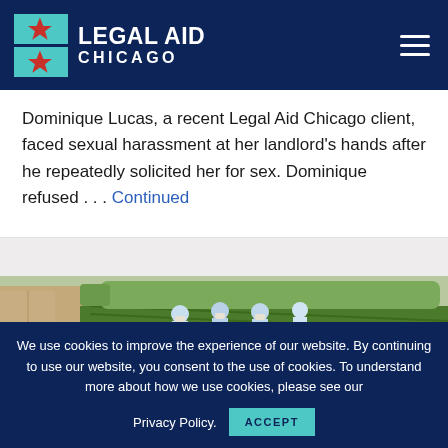LEGAL AID CHICAGO
Dominique Lucas, a recent Legal Aid Chicago client, faced sexual harassment at her landlord's hands after he repeatedly solicited her for sex. Dominique refused … Continued
[Figure (photo): Farm workers in field, wearing light blue clothing and masks, working among green crops with a dirt road and trees in background]
We use cookies to improve the experience of our website. By continuing to use our website, you consent to the use of cookies. To understand more about how we use cookies, please see our Privacy Policy.